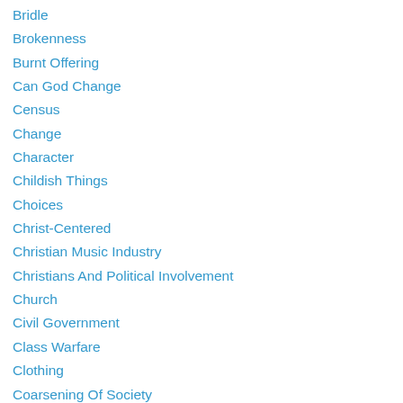Bridle
Brokenness
Burnt Offering
Can God Change
Census
Change
Character
Childish Things
Choices
Christ-Centered
Christian Music Industry
Christians And Political Involvement
Church
Civil Government
Class Warfare
Clothing
Coarsening Of Society
Colossians 1:9-12
Comfort
Commandments Of God
Commitment